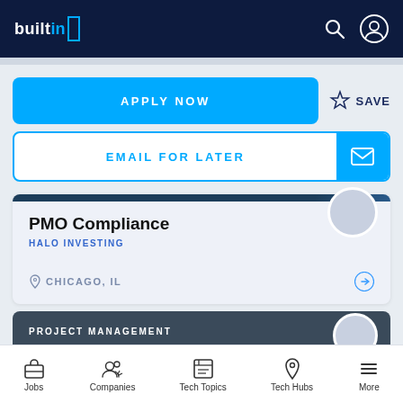builtin
APPLY NOW
SAVE
EMAIL FOR LATER
PMO Compliance
HALO INVESTING
CHICAGO, IL
PROJECT MANAGEMENT
Jobs | Companies | Tech Topics | Tech Hubs | More